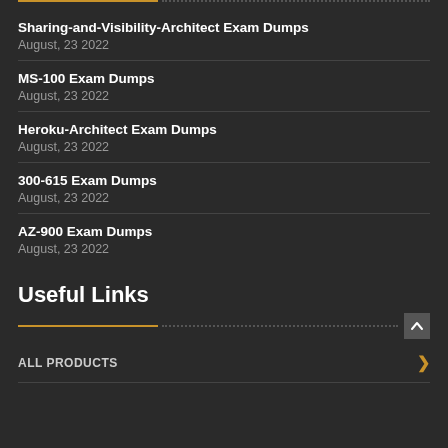Sharing-and-Visibility-Architect Exam Dumps
August, 23 2022
MS-100 Exam Dumps
August, 23 2022
Heroku-Architect Exam Dumps
August, 23 2022
300-615 Exam Dumps
August, 23 2022
AZ-900 Exam Dumps
August, 23 2022
Useful Links
ALL PRODUCTS